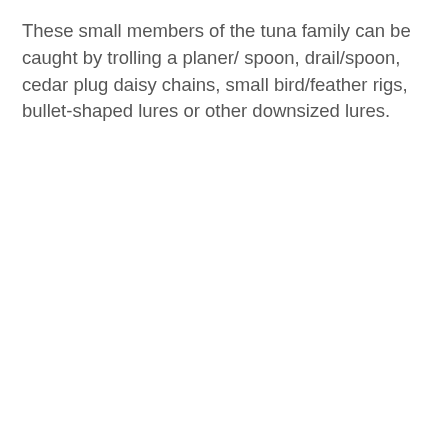These small members of the tuna family can be caught by trolling a planer/ spoon, drail/spoon, cedar plug daisy chains, small bird/feather rigs, bullet-shaped lures or other downsized lures.